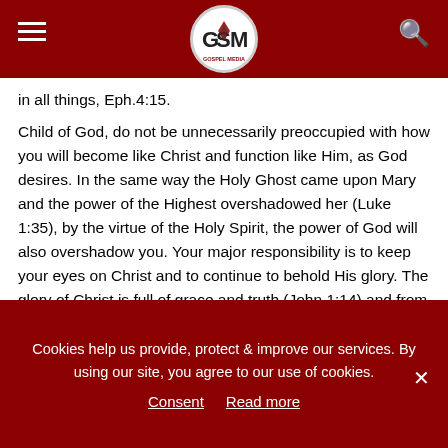GSM Gospel Media header with hamburger menu, logo, and search icon
in all things, Eph.4:15.
Child of God, do not be unnecessarily preoccupied with how you will become like Christ and function like Him, as God desires. In the same way the Holy Ghost came upon Mary and the power of the Highest overshadowed her (Luke 1:35), by the virtue of the Holy Spirit, the power of God will also overshadow you. Your major responsibility is to keep your eyes on Christ and to continue to behold His glory. The glory of Christ is full of grace and truth (John 1:14) and from the fullness of Christ, we receive grace upon grace, John 1:16. As we continue to behold the glory of Christ, the grace of God will continue to work in us and the
Cookies help us provide, protect & improve our services. By using our site, you agree to our use of cookies.
Consent   Read more